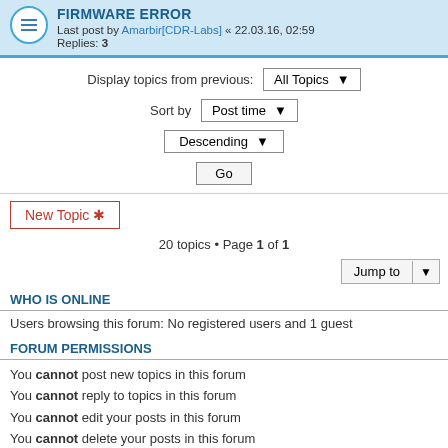FIRMWARE ERROR
Last post by Amarbir[CDR-Labs] « 22.03.16, 02:59
Replies: 3
Display topics from previous: All Topics
Sort by Post time
Descending
Go
New Topic *
20 topics • Page 1 of 1
Jump to
WHO IS ONLINE
Users browsing this forum: No registered users and 1 guest
FORUM PERMISSIONS
You cannot post new topics in this forum
You cannot reply to topics in this forum
You cannot edit your posts in this forum
You cannot delete your posts in this forum
You cannot post attachments in this forum
ACELab Forum   Contact us   The team
Powered by phpBB® Forum Software © phpBB Limited